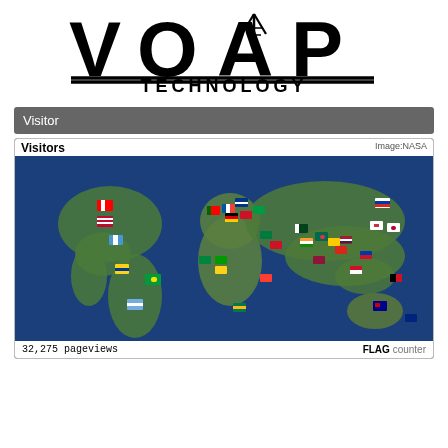[Figure (logo): VOAP Technology logo with stylized tower inside the letter A, large bold text with TECHNOLOGY beneath underlined]
Visitor
[Figure (map): World map showing visitor locations with country flags pinned to various countries. Shows 32,275 pageviews. Image credit: NASA. FLAG counter branding in bottom right.]